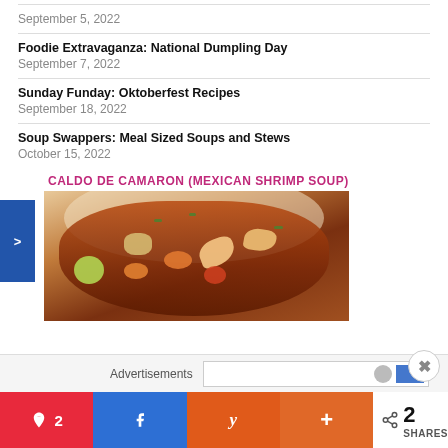September 5, 2022
Foodie Extravaganza: National Dumpling Day
September 7, 2022
Sunday Funday: Oktoberfest Recipes
September 18, 2022
Soup Swappers: Meal Sized Soups and Stews
October 15, 2022
CALDO DE CAMARON (MEXICAN SHRIMP SOUP)
[Figure (photo): A bowl of Caldo de Camaron (Mexican shrimp soup) with shrimp, carrots, potatoes, tomatoes, lime wedge, and fresh herbs in a rich red broth.]
Advertisements
2  SHARES